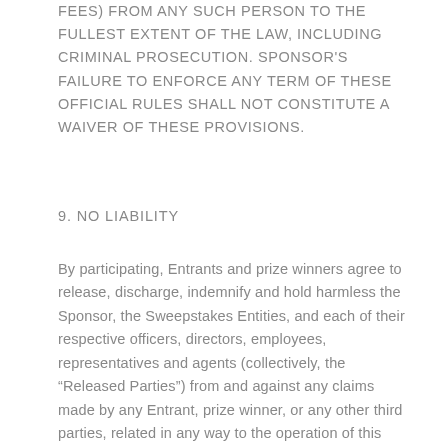FEES) FROM ANY SUCH PERSON TO THE FULLEST EXTENT OF THE LAW, INCLUDING CRIMINAL PROSECUTION. SPONSOR'S FAILURE TO ENFORCE ANY TERM OF THESE OFFICIAL RULES SHALL NOT CONSTITUTE A WAIVER OF THESE PROVISIONS.
9. NO LIABILITY
By participating, Entrants and prize winners agree to release, discharge, indemnify and hold harmless the Sponsor, the Sweepstakes Entities, and each of their respective officers, directors, employees, representatives and agents (collectively, the “Released Parties”) from and against any claims made by any Entrant, prize winner, or any other third parties, related in any way to the operation of this Sweepstakes as well as any other claims, damages or liability due to any injuries, damages or losses to any person (including death) or property of any kind resulting